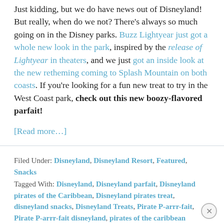Just kidding, but we do have news out of Disneyland! But really, when do we not? There's always so much going on in the Disney parks. Buzz Lightyear just got a whole new look in the park, inspired by the release of Lightyear in theaters, and we just got an inside look at the new retheming coming to Splash Mountain on both coasts. If you're looking for a fun new treat to try in the West Coast park, check out this new boozy-flavored parfait!
[Read more…]
Filed Under: Disneyland, Disneyland Resort, Featured, Snacks
Tagged With: Disneyland, Disneyland parfait, Disneyland pirates of the Caribbean, Disneyland pirates treat, disneyland snacks, Disneyland Treats, Pirate P-arrr-fait, Pirate P-arrr-fait disneyland, pirates of the caribbean disneyland, pirates of the Caribbean Disneyland parfait, pirates of the Caribbean Disneyland treat, pirates of the Caribbean treat, pirates treat Disneyland